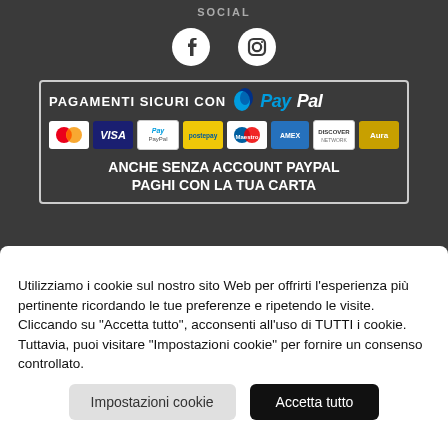SOCIAL
[Figure (illustration): Facebook and Instagram social media icons in white on dark background]
[Figure (infographic): PayPal secure payment banner with card logos (Mastercard, Visa, PayPal, Postepay, Maestro, American Express, Discover, Aura) and text ANCHE SENZA ACCOUNT PAYPAL PAGHI CON LA TUA CARTA]
Utilizziamo i cookie sul nostro sito Web per offrirti l'esperienza più pertinente ricordando le tue preferenze e ripetendo le visite. Cliccando su "Accetta tutto", acconsenti all'uso di TUTTI i cookie. Tuttavia, puoi visitare "Impostazioni cookie" per fornire un consenso controllato.
Impostazioni cookie
Accetta tutto